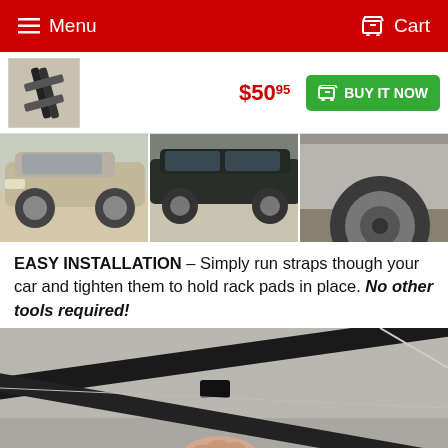Menu   Cart
[Figure (photo): Product thumbnail showing car roof rack pads/bars]
$50.95  BUY IT NOW
[Figure (photo): Three photos of cars showing roof rack installation on different vehicles]
EASY INSTALLATION – Simply run straps though your car and tighten them to hold rack pads in place. No other tools required!
[Figure (photo): Interior car photo showing a strap being run through the car ceiling/door area, with a hand holding the strap]